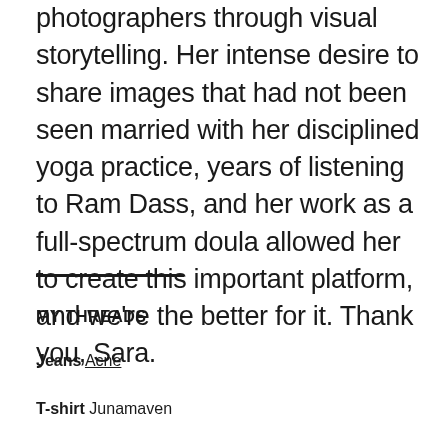photographers through visual storytelling. Her intense desire to share images that had not been seen married with her disciplined yoga practice, years of listening to Ram Dass, and her work as a full-spectrum doula allowed her to create this important platform, and we're the better for it. Thank you, Sara.
MY THREADS
Jeans Acne
T-shirt Junamaven